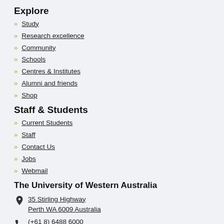Explore
Study
Research excellence
Community
Schools
Centres & Institutes
Alumni and friends
Shop
Staff & Students
Current Students
Staff
Contact Us
Jobs
Webmail
The University of Western Australia
35 Stirling Highway Perth WA 6009 Australia
(+61 8) 6488 6000
Contact us